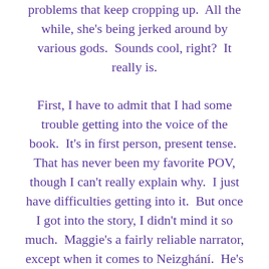problems that keep cropping up.  All the while, she's being jerked around by various gods.  Sounds cool, right?  It really is.

First, I have to admit that I had some trouble getting into the voice of the book.  It's in first person, present tense.  That has never been my favorite POV, though I can't really explain why.  I just have difficulties getting into it.  But once I got into the story, I didn't mind it so much.  Maggie's a fairly reliable narrator, except when it comes to Neizghání.  He's a much bigger douchenozzle than she makes him out to be.  Even when people and other gods try to tell her how bad he was/is to her, she basically idolizes him because he took her in and trained her.  I wasn't sure who to believe, then he shows up.  Yeah.  He's not a great guy.  It was disconcerting at first, but then I